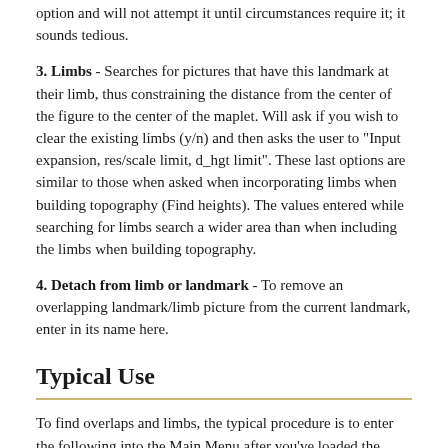option and will not attempt it until circumstances require it; it sounds tedious.
3. Limbs - Searches for pictures that have this landmark at their limb, thus constraining the distance from the center of the figure to the center of the maplet. Will ask if you wish to clear the existing limbs (y/n) and then asks the user to "Input expansion, res/scale limit, d_hgt limit". These last options are similar to those when asked when incorporating limbs when building topography (Find heights). The values entered while searching for limbs search a wider area than when including the limbs when building topography.
4. Detach from limb or landmark - To remove an overlapping landmark/limb picture from the current landmark, enter in its name here.
Typical Use
To find overlaps and limbs, the typical procedure is to enter the following into the Main Menu after you've loaded the landmark of interest.